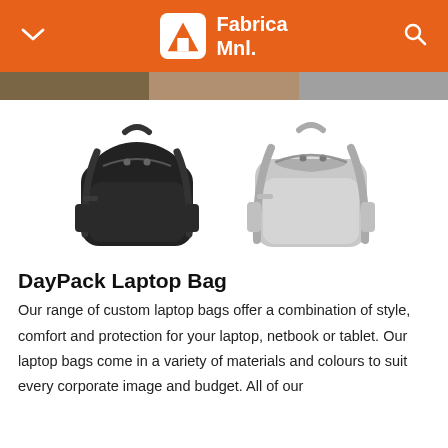Fabrica Mnl.
[Figure (photo): Two backpack laptop bags side by side: one black on the left and one grey on the right, both shown from the front.]
DayPack Laptop Bag
Our range of custom laptop bags offer a combination of style, comfort and protection for your laptop, netbook or tablet. Our laptop bags come in a variety of materials and colours to suit every corporate image and budget. All of our